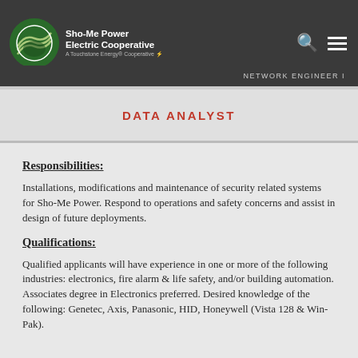Sho-Me Power Electric Cooperative — NETWORK ENGINEER I
DATA ANALYST
Responsibilities:
Installations, modifications and maintenance of security related systems for Sho-Me Power. Respond to operations and safety concerns and assist in design of future deployments.
Qualifications:
Qualified applicants will have experience in one or more of the following industries: electronics, fire alarm & life safety, and/or building automation. Associates degree in Electronics preferred. Desired knowledge of the following: Genetec, Axis, Panasonic, HID, Honeywell (Vista 128 & Win-Pak).